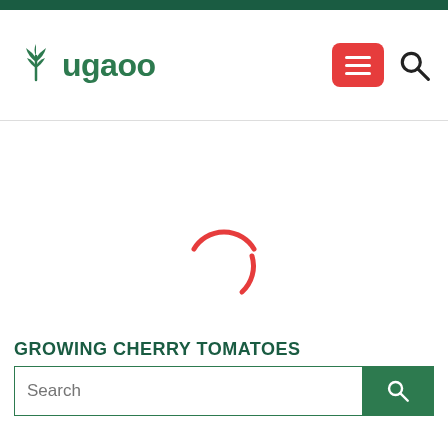[Figure (logo): Ugaoo brand logo with green leaf icon and green text 'ugaoo']
[Figure (other): Red loading spinner (partial circle arcs) indicating page content is loading]
GROWING CHERRY TOMATOES
Search